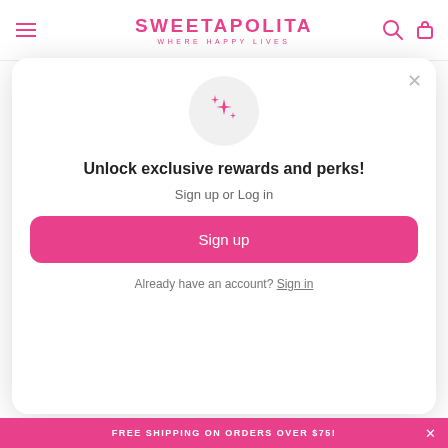SWEETAPOLITA WHERE HAPPY LIVES
2 eggs (room temperature, lightly beaten)
1 tablespoon 15 mL pure vanilla extract
FOR THE RASPBERRY SWISS
[Figure (screenshot): Modal popup with sparkle icon, title 'Unlock exclusive rewards and perks!', subtitle 'Sign up or Log in', a pink 'Sign up' button, and 'Already have an account? Sign in' link]
FREE SHIPPING ON ORDERS OVER $75!